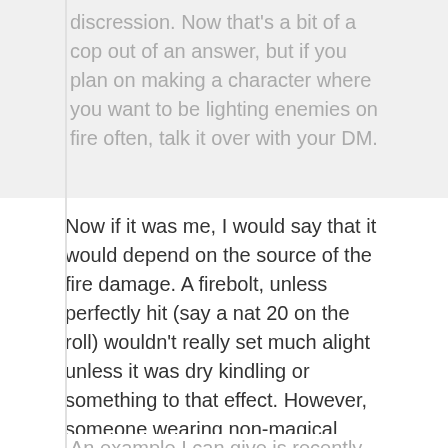discression. Now that's a bit of a cop out of an answer, but if you plan on making a character where you want to be lighting enemies on fire often, talk it over with your DM.
Now if it was me, I would say that it would depend on the source of the fire damage. A firebolt, unless perfectly hit (say a nat 20 on the roll) wouldn't really set much alight unless it was dry kindling or something to that effect. However, someone wearing non-magical clothing, walking through a Wall of Fire? Hell yeah they'd be on fire.
An example I can give is recently the